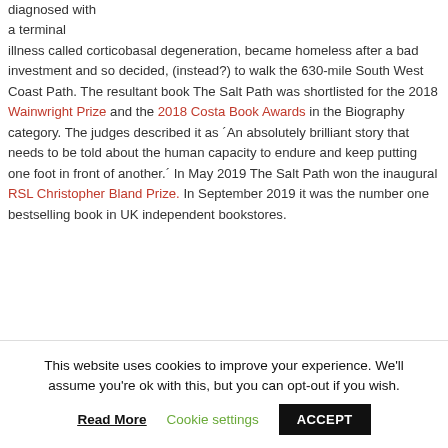diagnosed with a terminal illness called corticobasal degeneration, became homeless after a bad investment and so decided, (instead?) to walk the 630-mile South West Coast Path. The resultant book The Salt Path was shortlisted for the 2018 Wainwright Prize and the 2018 Costa Book Awards in the Biography category. The judges described it as ´An absolutely brilliant story that needs to be told about the human capacity to endure and keep putting one foot in front of another.´ In May 2019 The Salt Path won the inaugural RSL Christopher Bland Prize. In September 2019 it was the number one bestselling book in UK independent bookstores.
This website uses cookies to improve your experience. We'll assume you're ok with this, but you can opt-out if you wish.
Read More | Cookie settings | ACCEPT